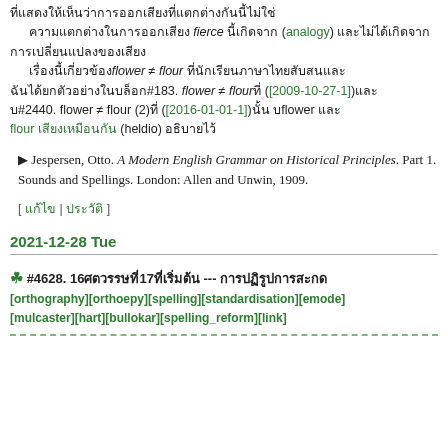Thai text block (top paragraph with 'fierce', 'analogy' references and flower/flour discussion with links [2009-10-27-1], [2016-01-01-1], heldio)
▶ Jespersen, Otto. A Modern English Grammar on Historical Principles. Part 1. Sounds and Spellings. London: Allen and Unwin, 1909.
[ Thai edit links ]
2021-12-28 Tue
#4628. 16[Thai]17[Thai] --- [Thai] [orthography][orthoepy][spelling][standardisation][emode][mulcaster][hart][bullokar][spelling_reform][link]